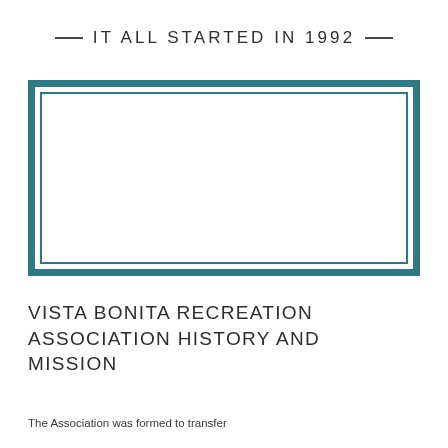IT ALL STARTED IN 1992
[Figure (other): Rectangular image placeholder with a teal double border (thick outer border and thin inner border), white interior, representing a photo or image area.]
VISTA BONITA RECREATION ASSOCIATION HISTORY AND MISSION
The Association was formed to transfer